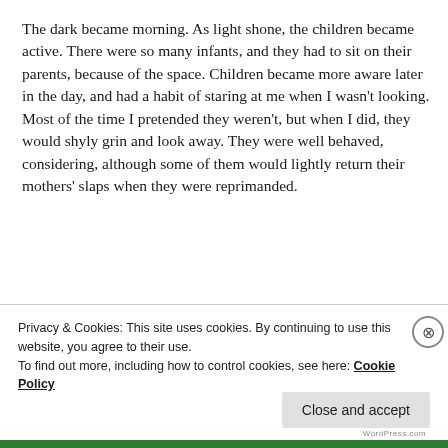The dark became morning. As light shone, the children became active. There were so many infants, and they had to sit on their parents, because of the space. Children became more aware later in the day, and had a habit of staring at me when I wasn't looking. Most of the time I pretended they weren't, but when I did, they would shyly grin and look away. They were well behaved, considering, although some of them would lightly return their mothers' slaps when they were reprimanded.
Privacy & Cookies: This site uses cookies. By continuing to use this website, you agree to their use. To find out more, including how to control cookies, see here: Cookie Policy
Close and accept